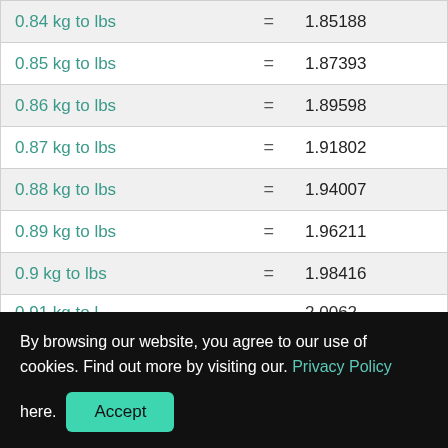| Conversion | = | Value |
| --- | --- | --- |
| 0.84 kg to lbs | = | 1.85188 |
| 0.85 kg to lbs | = | 1.87393 |
| 0.86 kg to lbs | = | 1.89598 |
| 0.87 kg to lbs | = | 1.91802 |
| 0.88 kg to lbs | = | 1.94007 |
| 0.89 kg to lbs | = | 1.96211 |
| 0.9 kg to lbs | = | 1.98416 |
By browsing our website, you agree to our use of cookies. Find out more by visiting our. Privacy Policy here.